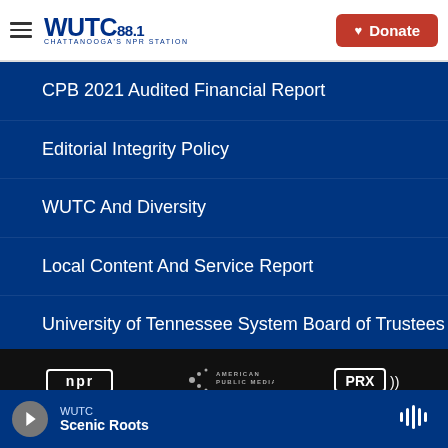WUTC 88.1 Chattanooga's NPR Station — Donate
CPB 2021 Audited Financial Report
Editorial Integrity Policy
WUTC And Diversity
Local Content And Service Report
University of Tennessee System Board of Trustees
[Figure (logo): NPR logo, American Public Media logo, PRX logo in black footer strip]
WUTC Scenic Roots — audio player bar